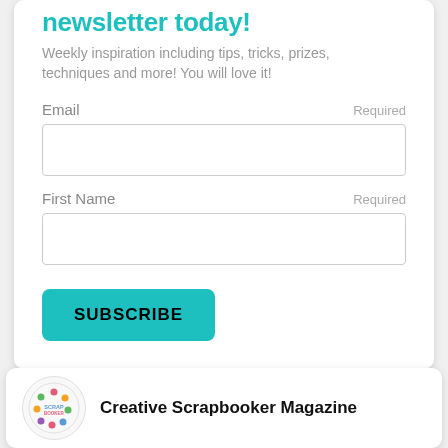newsletter today!
Weekly inspiration including tips, tricks, prizes, techniques and more! You will love it!
Email    Required
First Name    Required
SUBSCRIBE
Creative Scrapbooker Magazine